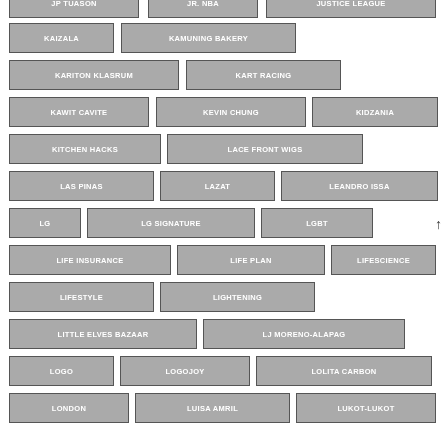JP TUASON
JR. NBA
JUSTICE LEAGUE
KAIZALA
KAMUNING BAKERY
KARITON KLASRUM
KART RACING
KAWIT CAVITE
KEVIN CHUNG
KIDZANIA
KITCHEN HACKS
LACE FRONT WIGS
LAS PINAS
LAZAT
LEANDRO ISSA
LG
LG SIGNATURE
LGBT
LIFE INSURANCE
LIFE PLAN
LIFESCIENCE
LIFESTYLE
LIGHTENING
LITTLE ELVES BAZAAR
LJ MORENO-ALAPAG
LOGO
LOGOJOY
LOLITA CARBON
LONDON
LUISA AMRIL
LUKOT-LUKOT